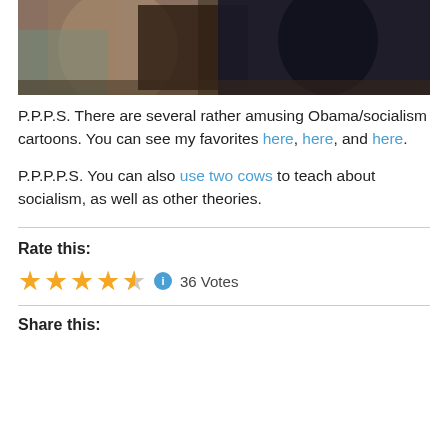[Figure (photo): Partial photo of a person in dark clothing against a decorated interior background with artwork and furniture visible]
P.P.P.S. There are several rather amusing Obama/socialism cartoons. You can see my favorites here, here, and here.
P.P.P.P.S. You can also use two cows to teach about socialism, as well as other theories.
Rate this:
36 Votes
Share this: